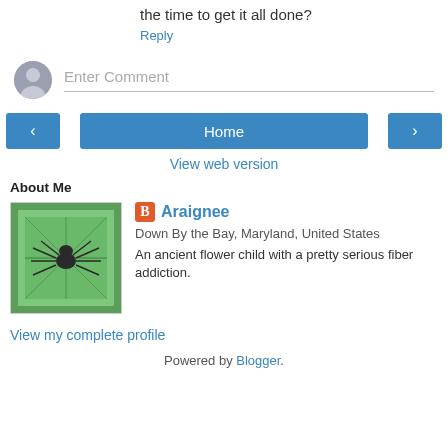the time to get it all done?
Reply
Enter Comment
< Home >
View web version
About Me
[Figure (illustration): Profile image showing a spider illustration on a green leaf/fabric background]
Araignee
Down By the Bay, Maryland, United States
An ancient flower child with a pretty serious fiber addiction.
View my complete profile
Powered by Blogger.